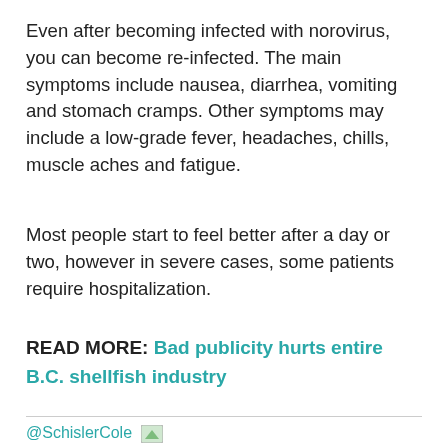Even after becoming infected with norovirus, you can become re-infected. The main symptoms include nausea, diarrhea, vomiting and stomach cramps. Other symptoms may include a low-grade fever, headaches, chills, muscle aches and fatigue.
Most people start to feel better after a day or two, however in severe cases, some patients require hospitalization.
READ MORE: Bad publicity hurts entire B.C. shellfish industry
@SchislerCole
cole.schisler@bpdigital.ca
Like us on Facebook and follow us on Twitter.
HEALTH